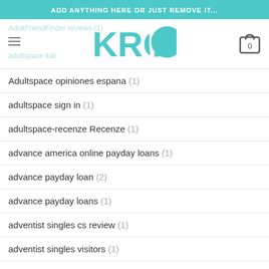ADD ANYTHING HERE OR JUST REMOVE IT...
[Figure (logo): KROQ logo in teal/turquoise color with hamburger menu icon on left and shopping cart icon with '0' on right]
AdultFriendFinder reviews (1)
adultspace italia
Adultspace opiniones espana (1)
adultspace sign in (1)
adultspace-recenze Recenze (1)
advance america online payday loans (1)
advance payday loan (2)
advance payday loans (1)
adventist singles cs review (1)
adventist singles visitors (1)
afrointroductions Log in (1)